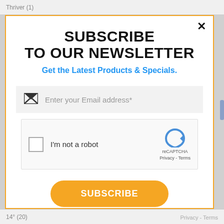Thriver (1)
SUBSCRIBE TO OUR NEWSLETTER
Get the Latest Products & Specials.
Enter your Email address*
[Figure (other): reCAPTCHA widget with checkbox labeled I'm not a robot]
SUBSCRIBE
14° (20)
Privacy - Terms